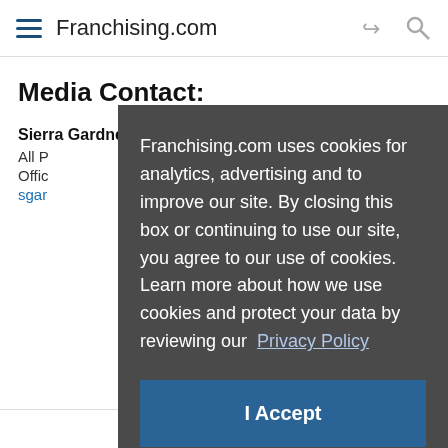Franchising.com
Media Contact:
Sierra Gardner
All P...
Offic...
sgard... (link)
Franchising.com uses cookies for analytics, advertising and to improve our site. By closing this box or continuing to use our site, you agree to our use of cookies. Learn more about how we use cookies and protect your data by reviewing our Privacy Policy
I Accept